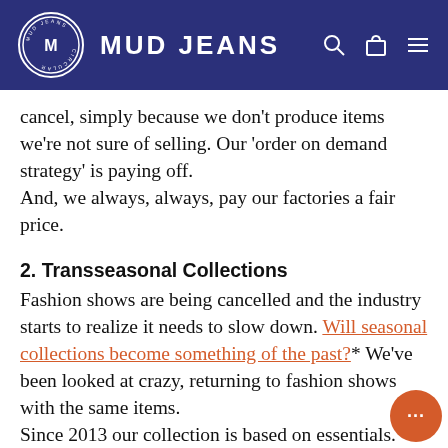MUD JEANS
cancel, simply because we don't produce items we're not sure of selling. Our 'order on demand strategy' is paying off.
And, we always, always, pay our factories a fair price.
2. Transseasonal Collections
Fashion shows are being cancelled and the industry starts to realize it needs to slow down. Will seasonal collections become something of the past?* We've been looked at crazy, returning to fashion shows with the same items.
Since 2013 our collection is based on essentials. Just occasionally adding new fits and washes. It means, no seasonal stocks, no order